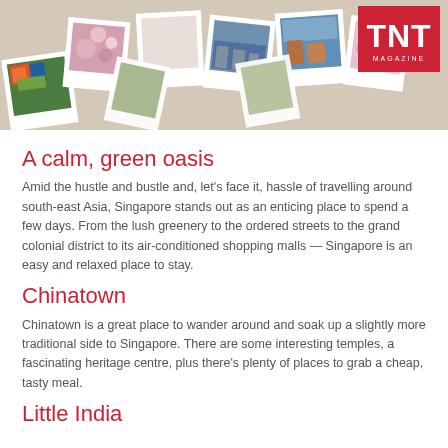[Figure (photo): Collage of travel polaroid photos including scenic destinations in south-east Asia, with TNT Magazine logo in the top right corner]
A calm, green oasis
Amid the hustle and bustle and, let’s face it, hassle of travelling around south-east Asia, Singapore stands out as an enticing place to spend a few days. From the lush greenery to the ordered streets to the grand colonial district to its air-conditioned shopping malls — Singapore is an easy and relaxed place to stay.
Chinatown
Chinatown is a great place to wander around and soak up a slightly more traditional side to Singapore. There are some interesting temples, a fascinating heritage centre, plus there’s plenty of places to grab a cheap, tasty meal.
Little India